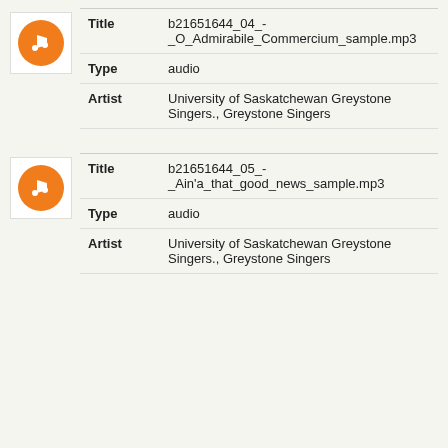| Field | Value |
| --- | --- |
| Title | b21651644_04_-_O_Admirabile_Commercium_sample.mp3 |
| Type | audio |
| Artist | University of Saskatchewan Greystone Singers., Greystone Singers |
| Field | Value |
| --- | --- |
| Title | b21651644_05_-_Ain'a_that_good_news_sample.mp3 |
| Type | audio |
| Artist | University of Saskatchewan Greystone Singers., Greystone Singers |